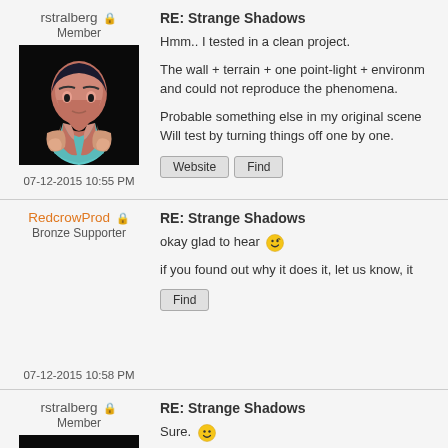rstralberg Member
[Figure (photo): Avatar photo of rstralberg, stylized illustration of a man in dark blue tones]
07-12-2015 10:55 PM
RE: Strange Shadows
Hmm.. I tested in a clean project.

The wall + terrain + one point-light + environment light and could not reproduce the phenomena.

Probable something else in my original scene. Will test by turning things off one by one.
RedcrowProd Bronze Supporter
07-12-2015 10:58 PM
RE: Strange Shadows
okay glad to hear

if you found out why it does it, let us know, it
rstralberg Member
[Figure (photo): Avatar photo of rstralberg, stylized illustration of a man in dark blue tones]
07-12-2015 11:27 PM
RE: Strange Shadows
Sure.